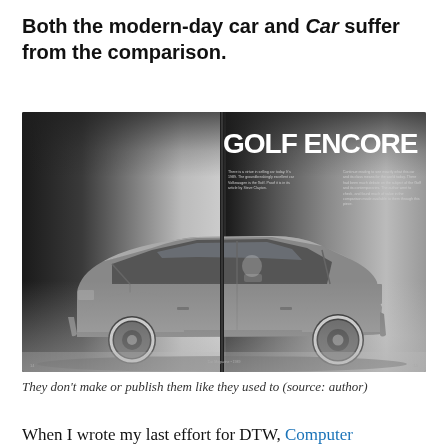Both the modern-day car and Car suffer from the comparison.
[Figure (photo): A photograph of an open magazine spread showing a two-page feature titled 'GOLF ENCORE' with a large black-and-white image of a Volkswagen Golf Mk2 hatchback photographed from the side against a dramatic cloudy background. The left and right pages each contain text columns. The magazine is photographed on a surface.]
They don't make or publish them like they used to (source: author)
When I wrote my last effort for DTW, Computer